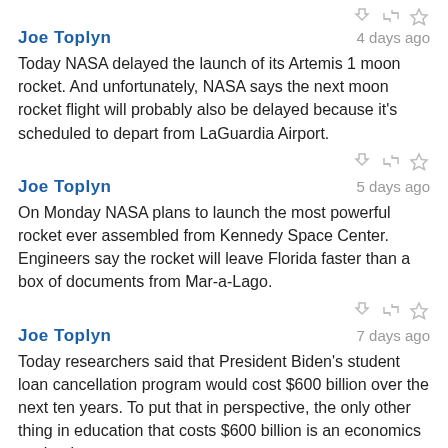[Figure (other): Action icons (reply, retweet, star) in gray at top right]
Joe Toplyn    4 days ago
Today NASA delayed the launch of its Artemis 1 moon rocket. And unfortunately, NASA says the next moon rocket flight will probably also be delayed because it's scheduled to depart from LaGuardia Airport.
[Figure (other): Action icons (reply, retweet, star) in gray]
Joe Toplyn    5 days ago
On Monday NASA plans to launch the most powerful rocket ever assembled from Kennedy Space Center. Engineers say the rocket will leave Florida faster than a box of documents from Mar-a-Lago.
[Figure (other): Action icons (reply, retweet, star) in gray]
Joe Toplyn    7 days ago
Today researchers said that President Biden's student loan cancellation program would cost $600 billion over the next ten years. To put that in perspective, the only other thing in education that costs $600 billion is an economics textbook.
[Figure (other): Action icons (reply, retweet, star) in gray]
Joe Toplyn    1 week ago